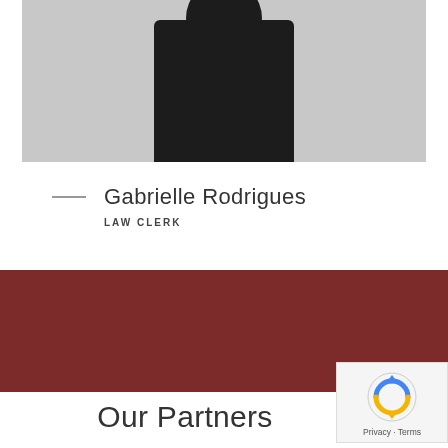[Figure (photo): Photograph of a person wearing a black t-shirt against a light gray background, cropped at the torso/shoulder area]
Gabrielle Rodrigues
LAW CLERK
Our Partners
[Figure (other): reCAPTCHA badge with circular arrows icon and Privacy - Terms text]